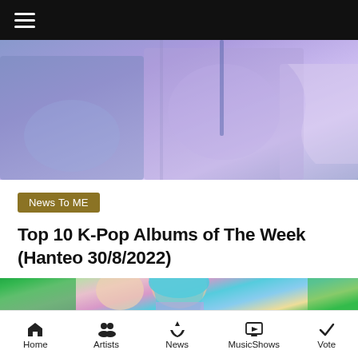[Figure (photo): Top banner photo showing K-pop artists in purple/blue tones]
News To ME
Top 10 K-Pop Albums of The Week (Hanteo 30/8/2022)
August 30, 2022
[Figure (photo): K-pop group photo with members in colorful outfits — green, teal hair, pink/purple — bottom image]
Home   Artists   News   MusicShows   Vote